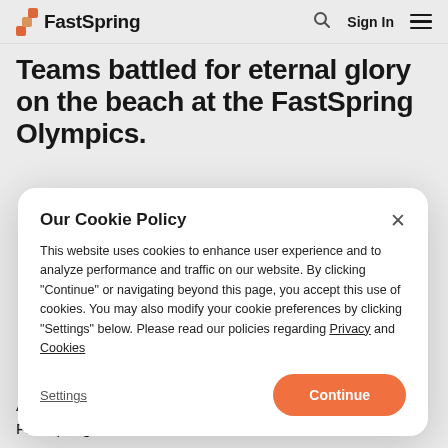FastSpring — Sign In
Teams battled for eternal glory on the beach at the FastSpring Olympics.
Our Cookie Policy
This website uses cookies to enhance user experience and to analyze performance and traffic on our website. By clicking "Continue" or navigating beyond this page, you accept this use of cookies. You may also modify your cookie preferences by clicking "Settings" below. Please read our policies regarding Privacy and Cookies
After a fun day exercising our creative muscles, the FastSpring team took over the beach for some